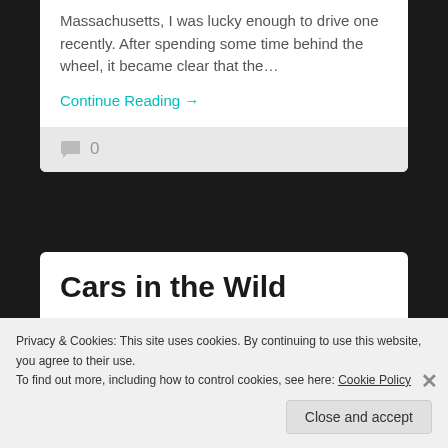Massachusetts, I was lucky enough to drive one recently. After spending some time behind the wheel, it became clear that the…
Continue Reading →
0
Cars in the Wild
[Figure (photo): Partial view of a car, dark tones]
Privacy & Cookies: This site uses cookies. By continuing to use this website, you agree to their use.
To find out more, including how to control cookies, see here: Cookie Policy
Close and accept